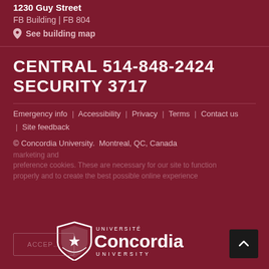1230 Guy Street
FB Building | FB 804
📍 See building map
CENTRAL 514-848-2424
SECURITY 3717
Emergency info | Accessibility | Privacy | Terms | Contact us | Site feedback
© Concordia University.  Montreal, QC, Canada
marketing and preference cookies. These are necessary for our site to function properly and to create the best possible online experience
[Figure (logo): Concordia University logo with shield icon and UNIVERSITÉ Concordia UNIVERSITY text]
ACCEPT ... Privacy policy